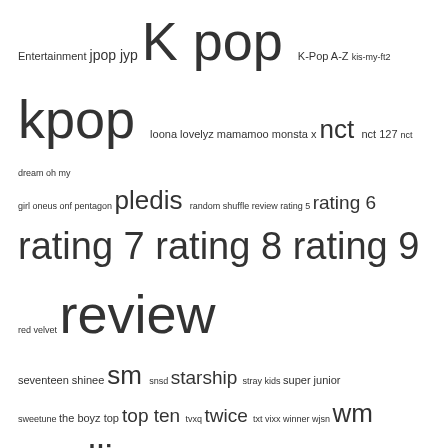Entertainment jpop jyp K pop K-Pop A-Z kis-my-ft2 kpop loona lovelyz mamamoo monsta x nct nct 127 nct dream oh my girl oneus onf pentagon pledis random shuffle review rating 5 rating 6 rating 7 rating 8 rating 9 red velvet review seventeen shinee sm snsd starship stray kids super junior sweetune the boyz top top ten tvxq twice txt vixx winner wjsn wm woollim YG
FOLLOW THE BIAS LIST VIA EMAIL!
Enter your email address to follow this blog and receive notifications of new posts by email.